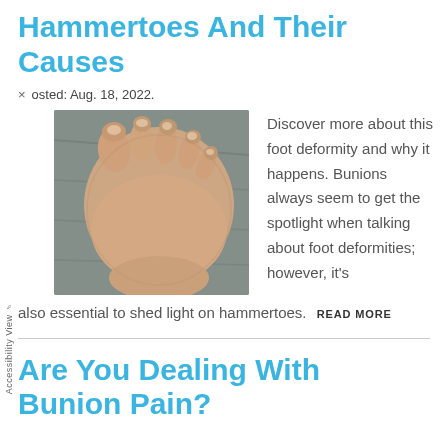Hammertoes And Their Causes
Posted: Aug. 18, 2022.
[Figure (photo): Close-up photograph of a human foot showing toes, resting on a gray fabric surface, illustrating hammertoe deformity.]
Discover more about this foot deformity and why it happens. Bunions always seem to get the spotlight when talking about foot deformities; however, it's also essential to shed light on hammertoes.
READ MORE
Are You Dealing With Bunion Pain?